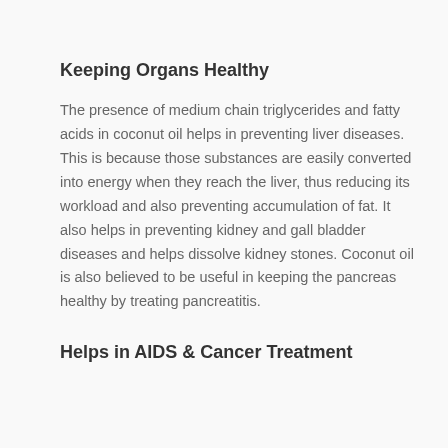Keeping Organs Healthy
The presence of medium chain triglycerides and fatty acids in coconut oil helps in preventing liver diseases. This is because those substances are easily converted into energy when they reach the liver, thus reducing its workload and also preventing accumulation of fat. It also helps in preventing kidney and gall bladder diseases and helps dissolve kidney stones. Coconut oil is also believed to be useful in keeping the pancreas healthy by treating pancreatitis.
Helps in AIDS & Cancer Treatment